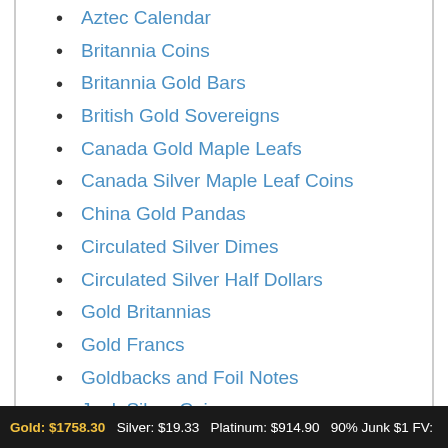Aztec Calendar
Britannia Coins
Britannia Gold Bars
British Gold Sovereigns
Canada Gold Maple Leafs
Canada Silver Maple Leaf Coins
China Gold Pandas
Circulated Silver Dimes
Circulated Silver Half Dollars
Gold Britannias
Gold Francs
Goldbacks and Foil Notes
Junk Silver Coins
Kilo Silver Bars
Mexican Gold Pesos
Gold: $1758.30  Silver: $19.33  Platinum: $914.90  90% Junk $1 FV: